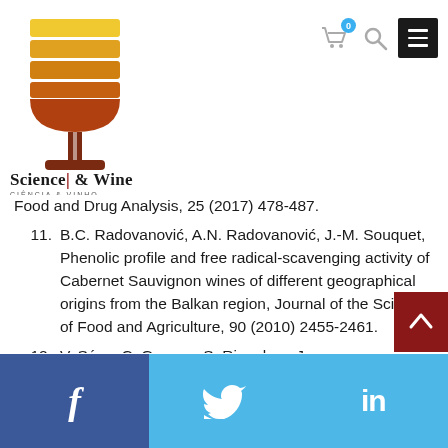[Figure (logo): Science & Wine website logo showing a stylized wine glass made of yellow, orange, and brown horizontal stripes, with text 'Science & Wine' and subtitle 'CIÊNCIA & VINHO']
Food and Drug Analysis, 25 (2017) 478-487.
11. B.C. Radovanović, A.N. Radovanović, J.-M. Souquet, Phenolic profile and free radical-scavenging activity of Cabernet Sauvignon wines of different geographical origins from the Balkan region, Journal of the Science of Food and Agriculture, 90 (2010) 2455-2461.
12. V. Sáez, C. Gayoso, S. Riquelme, J.